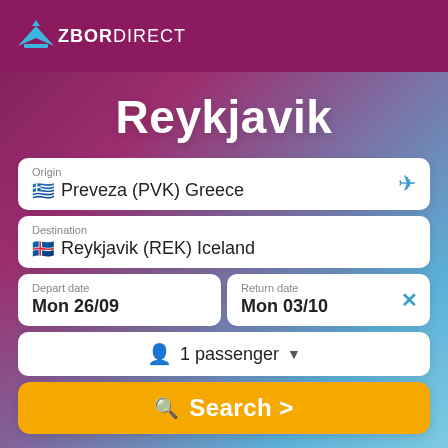[Figure (logo): ZborDirect airline logo with airplane icon and text 'ZBORDIRECT']
Reykjavik
Origin: Preveza (PVK) Greece
Destination: Reykjavik (REK) Iceland
Depart date: Mon 26/09
Return date: Mon 03/10
1 passenger
Search >